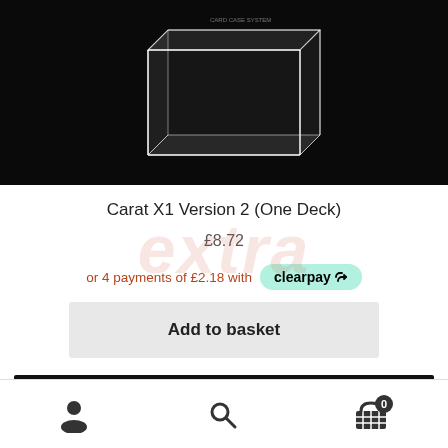[Figure (photo): Product photo of a clear acrylic card box on a black background, showing a transparent rectangular case with edge lighting]
Carat X1 Version 2 (One Deck)
£8.72
or 4 payments of £2.18 with Clearpay
Add to basket
[Figure (photo): Bottom black navigation bar area]
Navigation bar with account, search, and basket icons